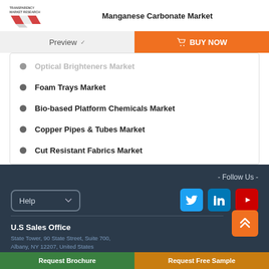Manganese Carbonate Market
Optical Brighteners Market
Foam Trays Market
Bio-based Platform Chemicals Market
Copper Pipes & Tubes Market
Cut Resistant Fabrics Market
- Follow Us -
Help
U.S Sales Office
State Tower, 90 State Street, Suite 700,
Albany, NY 12207, United States
Request Brochure
Request Free Sample